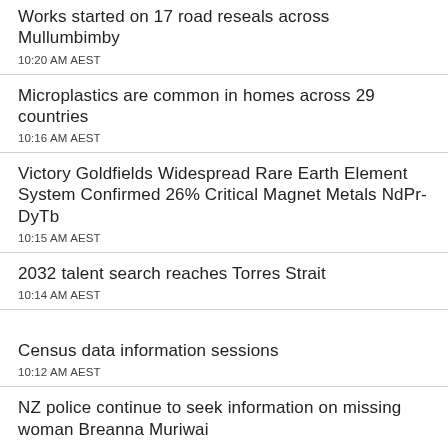Works started on 17 road reseals across Mullumbimby
10:20 AM AEST
Microplastics are common in homes across 29 countries
10:16 AM AEST
Victory Goldfields Widespread Rare Earth Element System Confirmed 26% Critical Magnet Metals NdPr-DyTb
10:15 AM AEST
2032 talent search reaches Torres Strait
10:14 AM AEST
Census data information sessions
10:12 AM AEST
NZ police continue to seek information on missing woman Breanna Muriwai